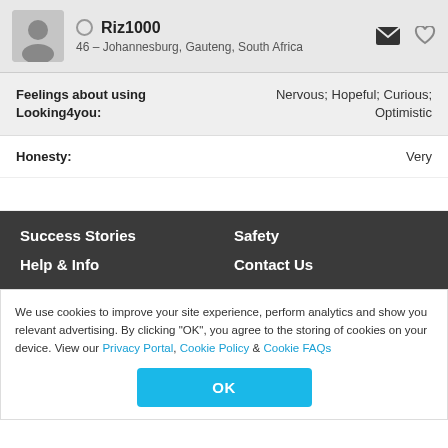Riz1000 – 46 – Johannesburg, Gauteng, South Africa
Feelings about using Looking4you: Nervous; Hopeful; Curious; Optimistic
Honesty: Very
Success Stories   Safety   Help & Info   Contact Us
We use cookies to improve your site experience, perform analytics and show you relevant advertising. By clicking "OK", you agree to the storing of cookies on your device. View our Privacy Portal, Cookie Policy & Cookie FAQs